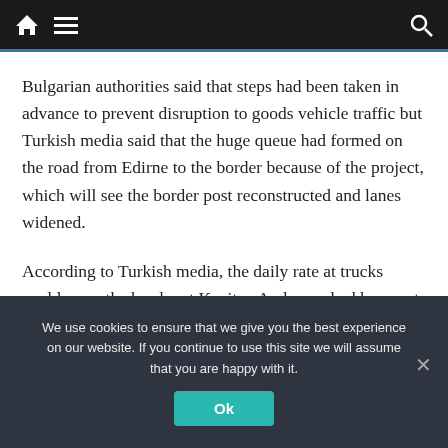Navigation bar with home, menu, and search icons
Bulgarian authorities said that steps had been taken in advance to prevent disruption to goods vehicle traffic but Turkish media said that the huge queue had formed on the road from Edirne to the border because of the project, which will see the border post reconstructed and lanes widened.
According to Turkish media, the daily rate at trucks could cross the border at Kapitan Andreevo had been cut in half.
We use cookies to ensure that we give you the best experience on our website. If you continue to use this site we will assume that you are happy with it.